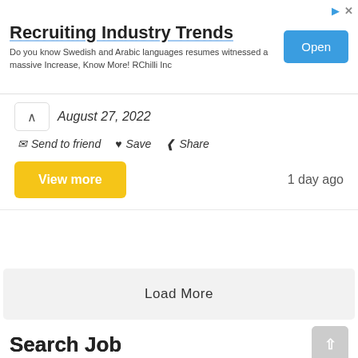[Figure (screenshot): Advertisement banner for RChilli Inc - Recruiting Industry Trends with Open button]
August 27, 2022
Send to friend  Save  Share
View more   1 day ago
Load More
Search Job
Keyword
Job Category